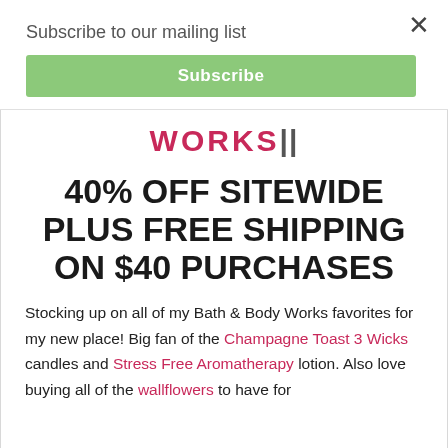Subscribe to our mailing list
Subscribe
[Figure (logo): Bath & Body Works logo — text 'WORKS||' in bold pink/dark lettering]
40% OFF SITEWIDE PLUS FREE SHIPPING ON $40 PURCHASES
Stocking up on all of my Bath & Body Works favorites for my new place! Big fan of the Champagne Toast 3 Wicks candles and Stress Free Aromatherapy lotion. Also love buying all of the wallflowers to have for